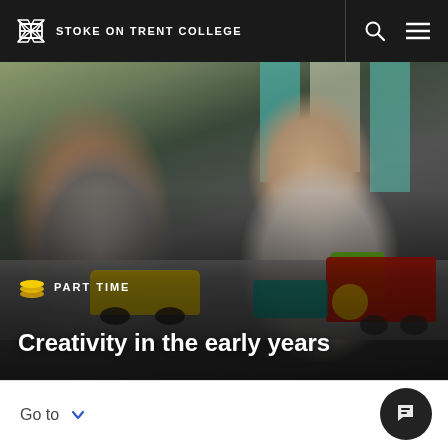STOKE ON TRENT COLLEGE
[Figure (photo): A woman wearing a grey hoodie and red lanyard sits at a table with a young toddler girl. Both are engaged with colourful toy vehicles and craft materials on the table. The setting appears to be a nursery or early years classroom with colourful decor in the background.]
PART TIME
Creativity in the early years
Go to